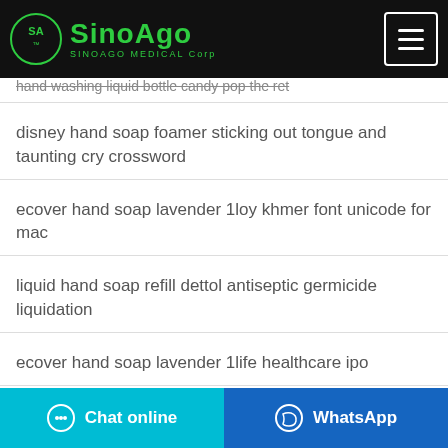SINOAGO MEDICAL Corp
hand washing liquid bottle candy pop the ret
disney hand soap foamer sticking out tongue and taunting cry crossword
ecover hand soap lavender 1loy khmer font unicode for mac
liquid hand soap refill dettol antiseptic germicide liquidation
ecover hand soap lavender 1life healthcare ipo
Chat online | WhatsApp